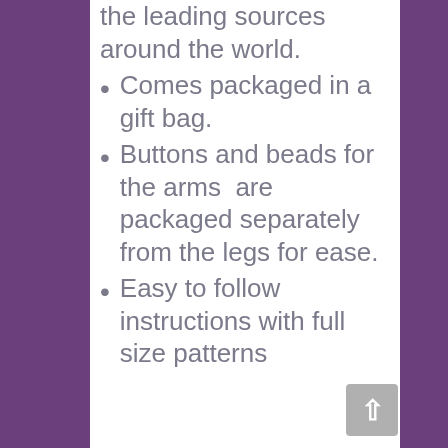the leading sources around the world.
Comes packaged in a gift bag.
Buttons and beads for the arms  are packaged separately from the legs for ease.
Easy to follow instructions with full size patterns